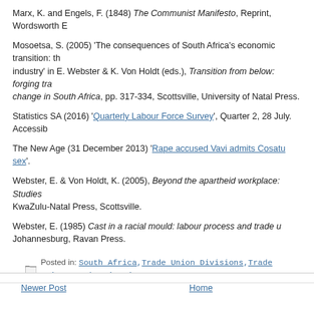Marx, K. and Engels, F. (1848) The Communist Manifesto, Reprint, Wordsworth E...
Mosoetsa, S. (2005) 'The consequences of South Africa's economic transition: th... industry' in E. Webster & K. Von Holdt (eds.), Transition from below: forging tra... change in South Africa, pp. 317-334, Scottsville, University of Natal Press.
Statistics SA (2016) 'Quarterly Labour Force Survey', Quarter 2, 28 July. Accessib...
The New Age (31 December 2013) 'Rape accused Vavi admits Cosatu sex'.
Webster, E. & Von Holdt, K. (2005), Beyond the apartheid workplace: Studies... KwaZulu-Natal Press, Scottsville.
Webster, E. (1985) Cast in a racial mould: labour process and trade u... Johannesburg, Ravan Press.
Posted in: South Africa, Trade Union Divisions, Trade Unions, Workers' unity
Newer Post    Home